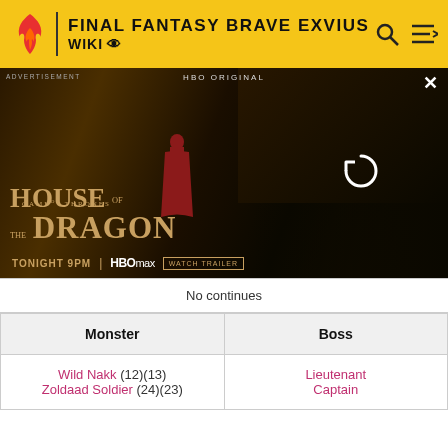FINAL FANTASY BRAVE EXVIUS WIKI
[Figure (screenshot): House of the Dragon HBO advertisement banner with Game of Thrones branding, showing a figure and dragon, text: TONIGHT 9PM HBO max WATCH TRAILER]
| Monster | Boss |
| --- | --- |
| No continues |  |
| Wild Nakk (12)(13)
Zoldaad Soldier (24)(23) | Lieutenant Captain |